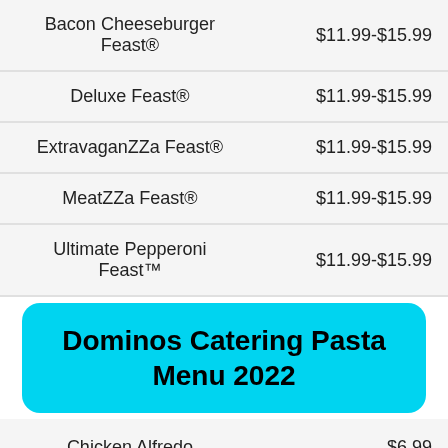| Item | Price |
| --- | --- |
| Bacon Cheeseburger Feast® | $11.99-$15.99 |
| Deluxe Feast® | $11.99-$15.99 |
| ExtravaganZZa Feast® | $11.99-$15.99 |
| MeatZZa Feast® | $11.99-$15.99 |
| Ultimate Pepperoni Feast™ | $11.99-$15.99 |
| Chicken Alfredo | $6.99 |
Dominos Catering Pasta Menu 2022